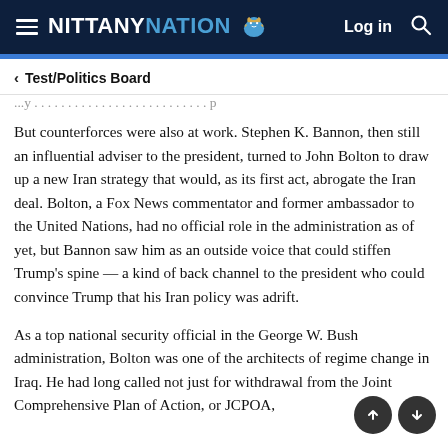NITTANY NATION — Log in
< Test/Politics Board
But counterforces were also at work. Stephen K. Bannon, then still an influential adviser to the president, turned to John Bolton to draw up a new Iran strategy that would, as its first act, abrogate the Iran deal. Bolton, a Fox News commentator and former ambassador to the United Nations, had no official role in the administration as of yet, but Bannon saw him as an outside voice that could stiffen Trump's spine — a kind of back channel to the president who could convince Trump that his Iran policy was adrift.
As a top national security official in the George W. Bush administration, Bolton was one of the architects of regime change in Iraq. He had long called not just for withdrawal from the Joint Comprehensive Plan of Action, or JCPOA,